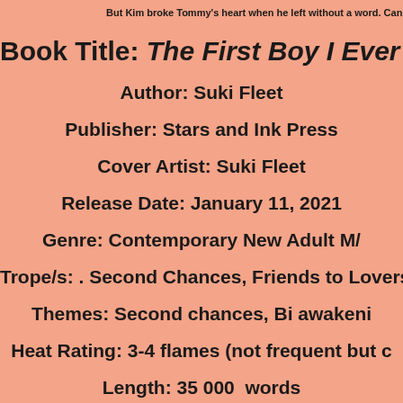But Kim broke Tommy's heart when he left without a word. Can Tommy give
Book Title: The First Boy I Ever Ki
Author: Suki Fleet
Publisher: Stars and Ink Press
Cover Artist: Suki Fleet
Release Date: January 11, 2021
Genre: Contemporary New Adult M/
Trope/s: . Second Chances, Friends to Lovers, I have
Themes: Second chances, Bi awakeni
Heat Rating: 3-4 flames (not frequent but c
Length: 35 000  words
It is a standalone story.
Add on Goodreads